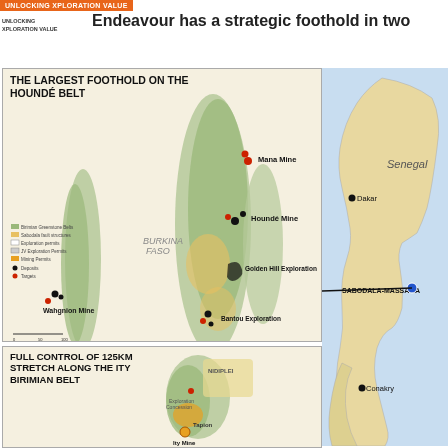UNLOCKING XPLORATION VALUE
Endeavour has a strategic foothold in two
[Figure (map): Map of the Houndé Belt in Burkina Faso showing Endeavour Mining's largest foothold, including Mana Mine, Houndé Mine, Golden Hill Exploration, Bantou Exploration, and Wahgnion Mine locations along greenstone belt corridors.]
THE LARGEST FOOTHOLD ON THE HOUNDÉ BELT
[Figure (map): Map showing full control of 125km stretch along the Ity Birimian Belt with mine locations and exploration permits.]
FULL CONTROL OF 125KM STRETCH ALONG THE ITY BIRIMIAN BELT
[Figure (map): West Africa overview map showing Senegal, Sabodala-Massawa location, Dakar, Conakry, and country boundaries.]